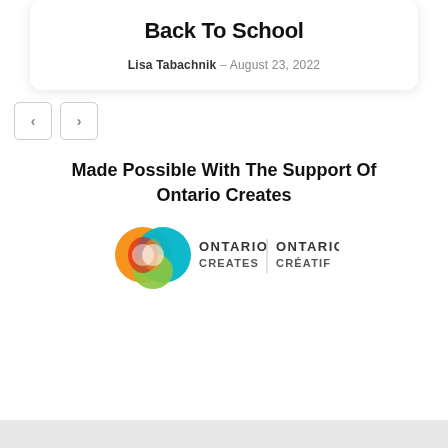Back To School
Lisa Tabachnik – August 23, 2022
[Figure (other): Navigation previous and next arrow buttons]
Made Possible With The Support Of Ontario Creates
[Figure (logo): Ontario Creates / Ontario Créatif logo with colourful circular icon and bilingual text]